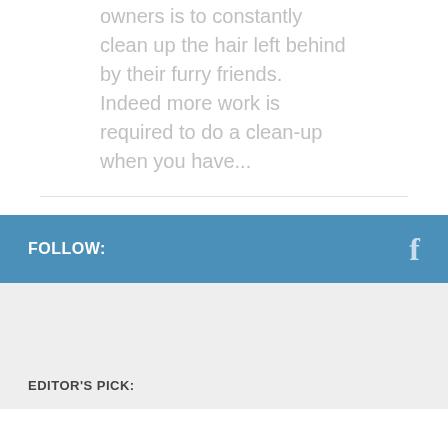owners is to constantly clean up the hair left behind by their furry friends. Indeed more work is required to do a clean-up when you have...
FOLLOW:
EDITOR'S PICK: